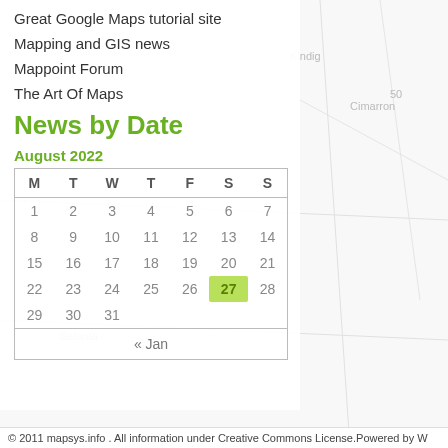Great Google Maps tutorial site
Mapping and GIS news
Mappoint Forum
The Art Of Maps
News by Date
August 2022
| M | T | W | T | F | S | S |
| --- | --- | --- | --- | --- | --- | --- |
| 1 | 2 | 3 | 4 | 5 | 6 | 7 |
| 8 | 9 | 10 | 11 | 12 | 13 | 14 |
| 15 | 16 | 17 | 18 | 19 | 20 | 21 |
| 22 | 23 | 24 | 25 | 26 | 27 | 28 |
| 29 | 30 | 31 |  |  |  |  |
« Jan
© 2011 mapsys.info . All information under Creative Commons License.Powered by W